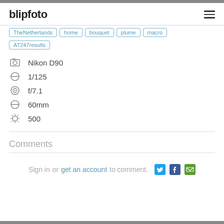blipfoto
TheNetherlands
home
bouquet
plume
macro
AT247results
Nikon D90
1/125
f/7.1
60mm
500
Comments
Sign in or get an account to comment.